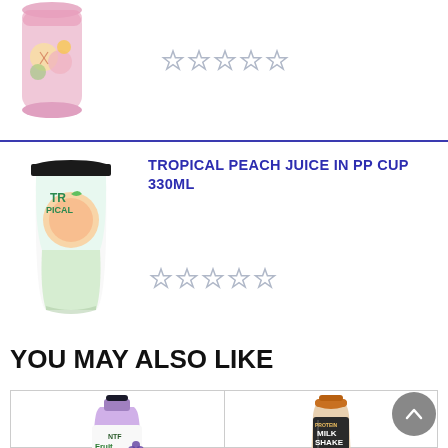[Figure (photo): Partial product image of a fruit drink can at top left]
[Figure (other): Five empty star rating icons]
[Figure (photo): Tropical Peach Juice in PP Cup 330ml product image]
TROPICAL PEACH JUICE IN PP CUP 330ML
[Figure (other): Five empty star rating icons]
YOU MAY ALSO LIKE
[Figure (photo): Grape Fruit Juice 340ml glass bottle product image with Fruit Juice logo]
GRAPE FRUIT JUICE 340ML GLASS BOTTLE
[Figure (photo): Juice Bottles Protein Milk Shake with Coffee product image]
JUICE BOTTLES  PROTEIN MILK SHAKE WITH COFEE